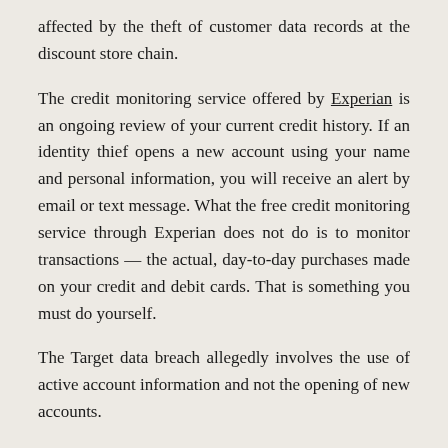affected by the theft of customer data records at the discount store chain.
The credit monitoring service offered by Experian is an ongoing review of your current credit history. If an identity thief opens a new account using your name and personal information, you will receive an alert by email or text message. What the free credit monitoring service through Experian does not do is to monitor transactions — the actual, day-to-day purchases made on your credit and debit cards. That is something you must do yourself.
The Target data breach allegedly involves the use of active account information and not the opening of new accounts.
“So if I understand this correctly, I’m not protected from identity theft at all,” Bina Fink Kohl, herself an identity theft victim and Target shopper, said. “Sounds like another possible scam. Why would I give